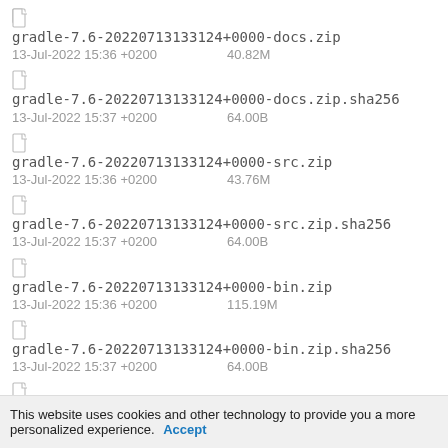gradle-7.6-20220713133124+0000-docs.zip
13-Jul-2022 15:36 +0200    40.82M
gradle-7.6-20220713133124+0000-docs.zip.sha256
13-Jul-2022 15:37 +0200    64.00B
gradle-7.6-20220713133124+0000-src.zip
13-Jul-2022 15:36 +0200    43.76M
gradle-7.6-20220713133124+0000-src.zip.sha256
13-Jul-2022 15:37 +0200    64.00B
gradle-7.6-20220713133124+0000-bin.zip
13-Jul-2022 15:36 +0200    115.19M
gradle-7.6-20220713133124+0000-bin.zip.sha256
13-Jul-2022 15:37 +0200    64.00B
gradle-7.6-20220713133124+0000-all.zip
13-Jul-2022 15:36 +0200    158.93M
This website uses cookies and other technology to provide you a more personalized experience. Accept